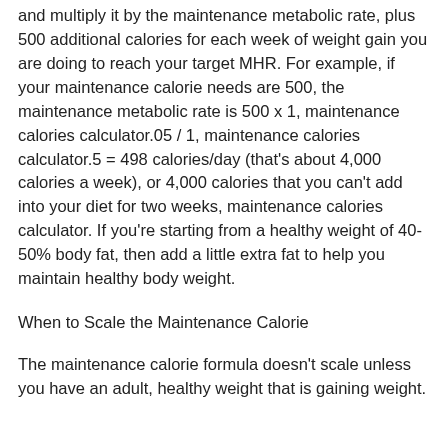and multiply it by the maintenance metabolic rate, plus 500 additional calories for each week of weight gain you are doing to reach your target MHR. For example, if your maintenance calorie needs are 500, the maintenance metabolic rate is 500 x 1, maintenance calories calculator.05 / 1, maintenance calories calculator.5 = 498 calories/day (that's about 4,000 calories a week), or 4,000 calories that you can't add into your diet for two weeks, maintenance calories calculator. If you're starting from a healthy weight of 40-50% body fat, then add a little extra fat to help you maintain healthy body weight.
When to Scale the Maintenance Calorie
The maintenance calorie formula doesn't scale unless you have an adult, healthy weight that is gaining weight.